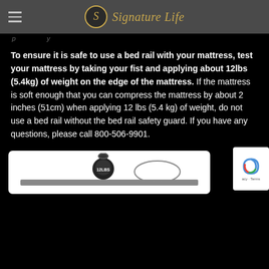Signature Life
To ensure it is safe to use a bed rail with your mattress, test your mattress by taking your fist and applying about 12lbs (5.4kg) of weight on the edge of the mattress. If the mattress is soft enough that you can compress the mattress by about 2 inches (51cm) when applying 12 lbs (5.4 kg) of weight, do not use a bed rail without the bed rail safety guard. If you have any questions, please call 800-506-9901.
[Figure (illustration): Illustration of a kettlebell (labeled 12LBS) on a mattress edge with a bed rail, showing compression test setup. A reCAPTCHA badge is visible at the bottom right.]